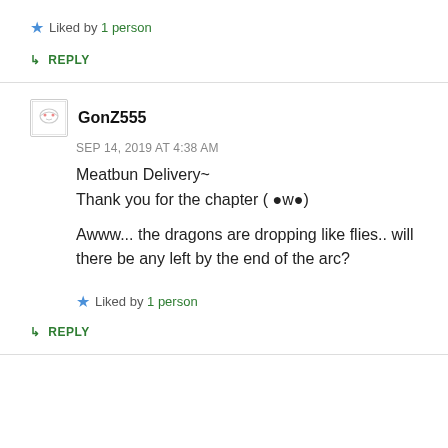★ Liked by 1 person
↳ REPLY
GonZ555
SEP 14, 2019 AT 4:38 AM
Meatbun Delivery~
Thank you for the chapter ( ●w●)

Awww... the dragons are dropping like flies.. will there be any left by the end of the arc?
★ Liked by 1 person
↳ REPLY